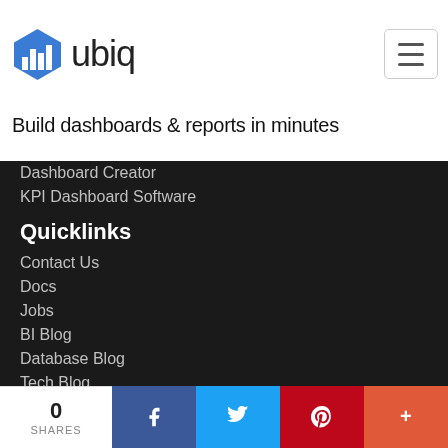ubiq — Build dashboards & reports in minutes
Dashboard Creator
KPI Dashboard Software
Quicklinks
Contact Us
Docs
Jobs
BI Blog
Database Blog
Tech Blog
Resources
Security
Privacy
T&C
Sitemap
0 SHARES